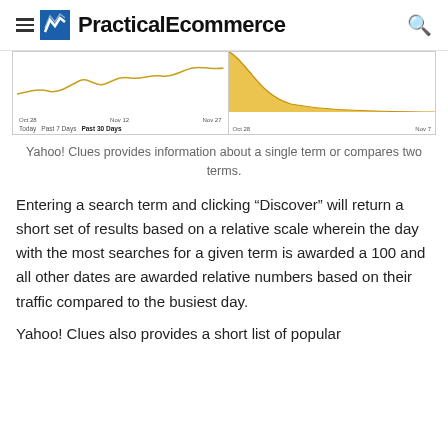PracticalEcommerce
[Figure (screenshot): Two side-by-side line/area charts from Yahoo! Clues showing search trend data. Left chart shows a line chart with dates Oct 28, Nov 12, Nov 27 and tabs: Today, Past 7 Days, Past 30 Days (bold). Right chart shows a filled area chart in yellow/gold color with dates Oct 28 and Nov 7.]
Yahoo! Clues provides information about a single term or compares two terms.
Entering a search term and clicking “Discover” will return a short set of results based on a relative scale wherein the day with the most searches for a given term is awarded a 100 and all other dates are awarded relative numbers based on their traffic compared to the busiest day.
Yahoo! Clues also provides a short list of popular